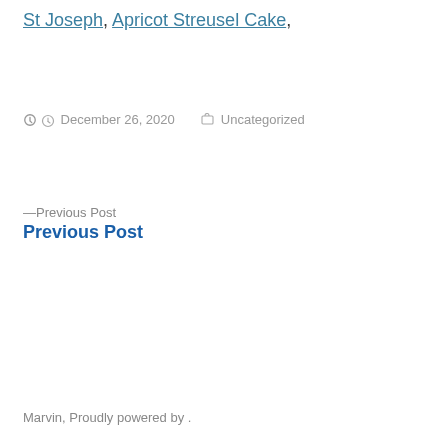St Joseph, Apricot Streusel Cake,
Posted by  December 26, 2020  Uncategorized
—Previous Post
Previous Post
Marvin, Proudly powered by .